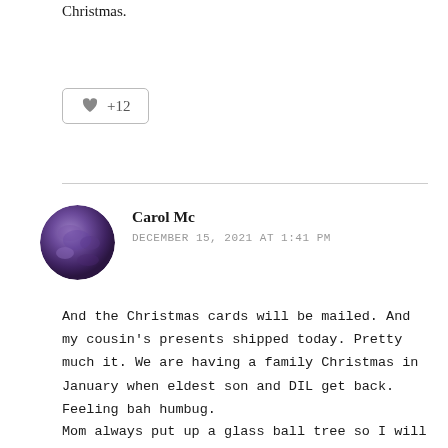Christmas.
[Figure (other): Like button with heart icon showing +12 likes]
Carol Mc
DECEMBER 15, 2021 AT 1:41 PM
And the Christmas cards will be mailed. And my cousin's presents shipped today. Pretty much it. We are having a family Christmas in January when eldest son and DIL get back. Feeling bah humbug.
Mom always put up a glass ball tree so I will